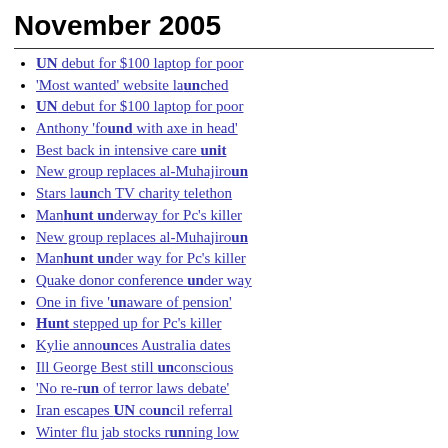November 2005
UN debut for $100 laptop for poor
'Most wanted' website launched
UN debut for $100 laptop for poor
Anthony 'found with axe in head'
Best back in intensive care unit
New group replaces al-Muhajiroun
Stars launch TV charity telethon
Manhunt underway for Pc's killer
New group replaces al-Muhajiroun
Manhunt under way for Pc's killer
Quake donor conference under way
One in five 'unaware of pension'
Hunt stepped up for Pc's killer
Kylie announces Australia dates
Ill George Best still unconscious
'No re-run of terror laws debate'
Iran escapes UN council referral
Winter flu jab stocks running low